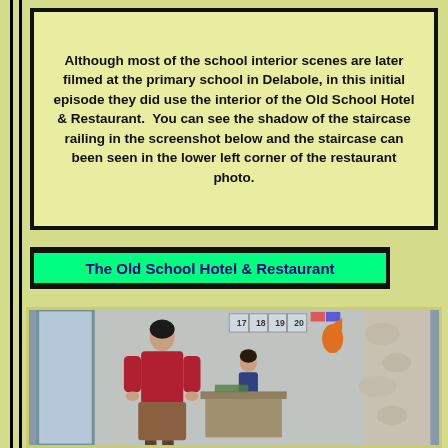Although most of the school interior scenes are later filmed at the primary school in Delabole, in this initial episode they did use the interior of the Old School Hotel & Restaurant.  You can see the shadow of the staircase railing in the screenshot below and the staircase can been seen in the lower left corner of the restaurant photo.
The Old School Hotel & Restaurant
[Figure (photo): A screenshot showing a woman in a red top standing in what appears to be a school interior. Numbers 17, 18, 19, 20 are visible on a banner in the upper portion. An orange fish decoration is visible in the upper right area. A child is seated in the background.]